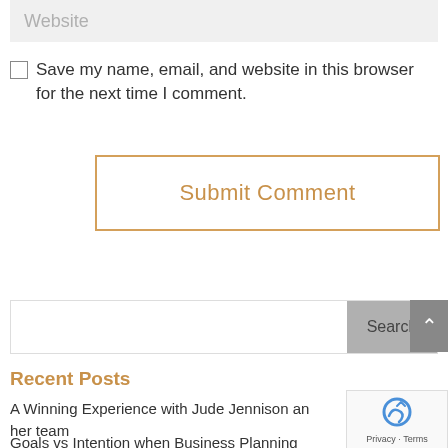Website
Save my name, email, and website in this browser for the next time I comment.
Submit Comment
Search
Recent Posts
A Winning Experience with Jude Jennison and her team
Goals vs Intention when Business Planning